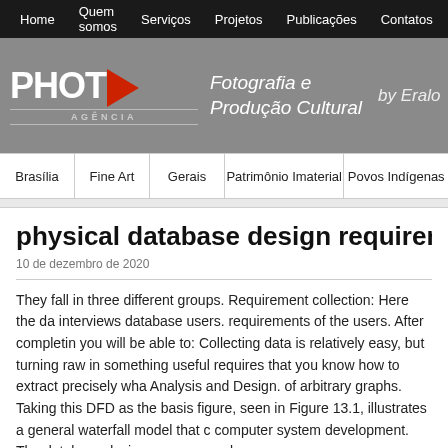Home | Quem somos | Serviços | Projetos | Publicações | Contatos
[Figure (logo): PhotoC Agência logo with red triangle, text 'Fotografia e Produção Cultural by Eralo']
Brasília | Fine Art | Gerais | Patrimônio Imaterial | Povos Indígenas
physical database design requirements
10 de dezembro de 2020
They fall in three different groups. Requirement collection: Here the da interviews database users. requirements of the users. After completin you will be able to: Collecting data is relatively easy, but turning raw in something useful requires that you know how to extract precisely wha Analysis and Design. of arbitrary graphs. Taking this DFD as the basis figure, seen in Figure 13.1, illustrates a general waterfall model that c computer system development. The database design process can be